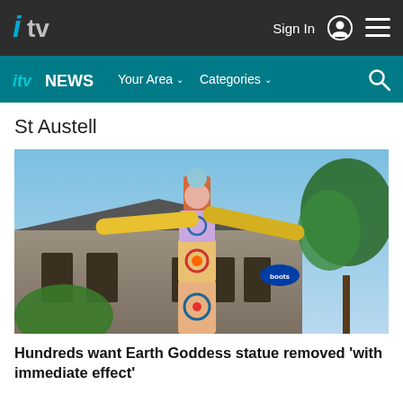ITV — Sign In
ITV NEWS — Your Area — Categories — Search
St Austell
[Figure (photo): A tall colourful mosaic sculpture (Earth Goddess statue) with yellow outstretched arms and decorated circular patterns, standing in front of a stone building with trees in the background under a blue sky.]
Hundreds want Earth Goddess statue removed 'with immediate effect'